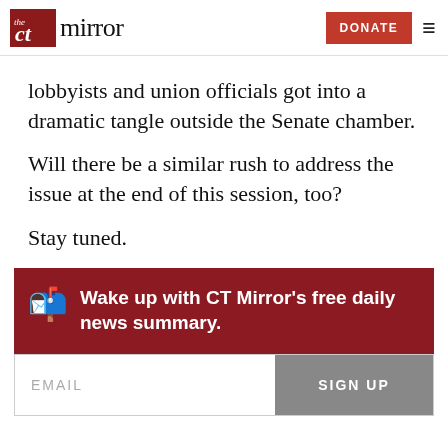CT Mirror — DONATE
lobbyists and union officials got into a dramatic tangle outside the Senate chamber.
Will there be a similar rush to address the issue at the end of this session, too?
Stay tuned.
Wake up with CT Mirror's free daily news summary.
EMAIL   SIGN UP